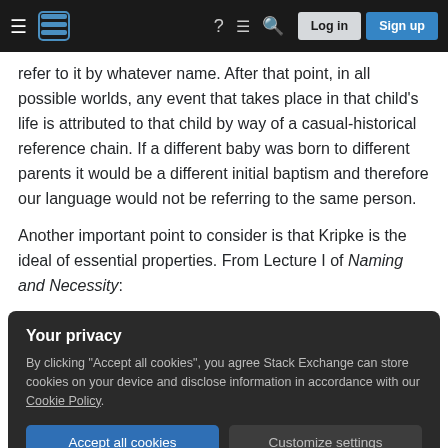Stack Exchange navigation bar with Log in and Sign up buttons
refer to it by whatever name. After that point, in all possible worlds, any event that takes place in that child's life is attributed to that child by way of a casual-historical reference chain. If a different baby was born to different parents it would be a different initial baptism and therefore our language would not be referring to the same person.
Another important point to consider is that Kripke is the ideal of essential properties. From Lecture I of Naming and Necessity:
[Figure (screenshot): Cookie consent overlay with dark background reading 'Your privacy' with Accept all cookies and Customize settings buttons]
worlds. Certainly Nixon might not have